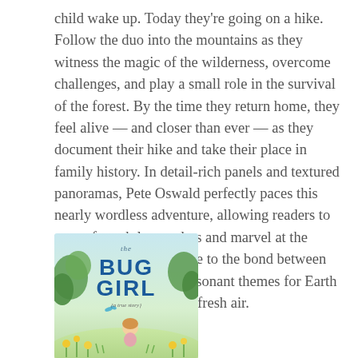child wake up. Today they're going on a hike. Follow the duo into the mountains as they witness the magic of the wilderness, overcome challenges, and play a small role in the survival of the forest. By the time they return home, they feel alive — and closer than ever — as they document their hike and take their place in family history. In detail-rich panels and textured panoramas, Pete Oswald perfectly paces this nearly wordless adventure, allowing readers to pause for subtle wonders and marvel at the views. A touching tribute to the bond between father and child, with resonant themes for Earth Day, Hike is a breath of fresh air.
[Figure (illustration): Book cover of 'The Bug Girl: a true story' showing a children's book with green nature background, blue title text, and a girl character among flowers and plants.]